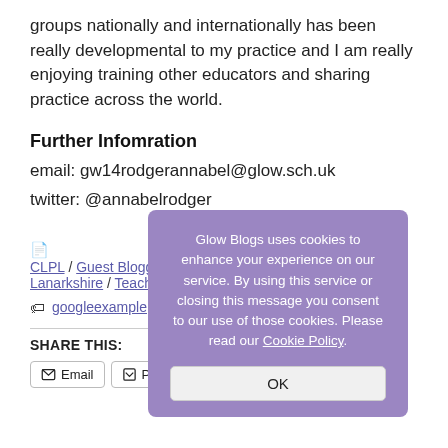groups nationally and internationally has been really developmental to my practice and I am really enjoying training other educators and sharing practice across the world.
Further Infomration
email: gw14rodgerannabel@glow.sch.uk
twitter: @annabelrodger
CLPL / Guest Bloggers / Learner / Primary / Sharing / South Lanarkshire / Teacher / Technologies / West Partnership
googleexample / sharing / staff
SHARE THIS:
Email  Print  Facebook  Twitter
Glow Blogs uses cookies to enhance your experience on our service. By using this service or closing this message you consent to our use of those cookies. Please read our Cookie Policy.
OK